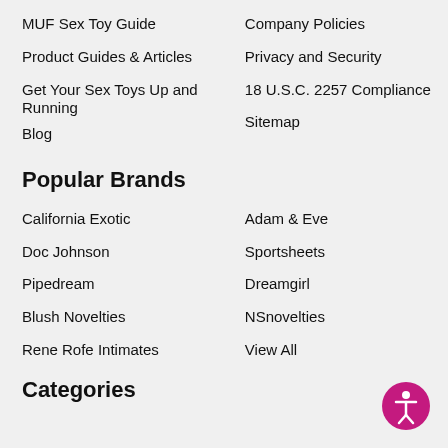MUF Sex Toy Guide
Company Policies
Product Guides & Articles
Privacy and Security
Get Your Sex Toys Up and Running
18 U.S.C. 2257 Compliance
Blog
Sitemap
Popular Brands
California Exotic
Adam & Eve
Doc Johnson
Sportsheets
Pipedream
Dreamgirl
Blush Novelties
NSnovelties
Rene Rofe Intimates
View All
[Figure (illustration): Accessibility icon button — pink circle with white person figure inside]
Categories